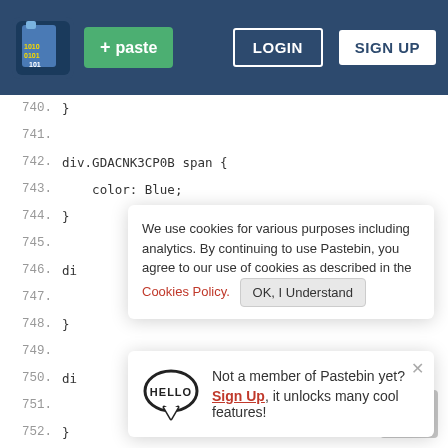[Figure (screenshot): Pastebin website navbar with logo, green paste button, LOGIN and SIGN UP buttons on dark blue background]
740.   }
741.
742.   div.GDACNK3CP0B span {
743.       color: Blue;
744.   }
745.
746.   di
747.
748.   }
749.
750.   di
751.
752.   }
753.
754.   div.GFJVYHBBB5 {
755.       background-color: #1786C4;
756.   }
We use cookies for various purposes including analytics. By continuing to use Pastebin, you agree to our use of cookies as described in the Cookies Policy.   OK, I Understand
Not a member of Pastebin yet? Sign Up, it unlocks many cool features!